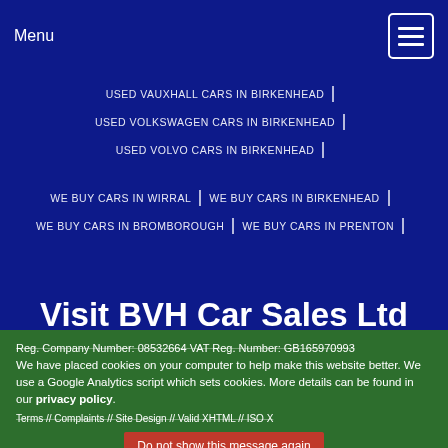Menu
USED VAUXHALL CARS IN BIRKENHEAD
USED VOLKSWAGEN CARS IN BIRKENHEAD
USED VOLVO CARS IN BIRKENHEAD
WE BUY CARS IN WIRRAL | WE BUY CARS IN BIRKENHEAD
WE BUY CARS IN BROMBOROUGH | WE BUY CARS IN PRENTON
Visit BVH Car Sales Ltd
Hind Street, Birkenhead, Wirral, CH41 5DA
T: 0151 666 8584 - Email Us
Reg. Company Number: 08532664 VAT Reg. Number: GB165970993
We have placed cookies on your computer to help make this website better. We use a Google Analytics script which sets cookies. More details can be found in our privacy policy.
Terms // Complaints // Site Design // Valid XHTML // ISO X
Do not show this message again